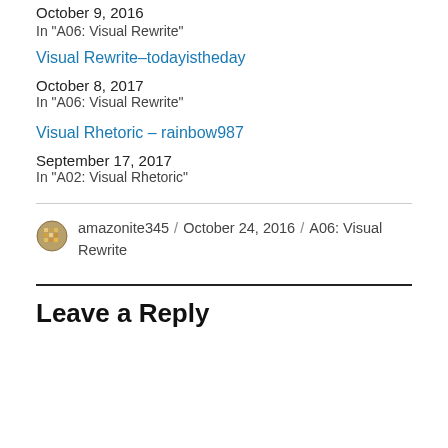October 9, 2016
In "A06: Visual Rewrite"
Visual Rewrite–todayistheday
October 8, 2017
In "A06: Visual Rewrite"
Visual Rhetoric – rainbow987
September 17, 2017
In "A02: Visual Rhetoric"
amazonite345 / October 24, 2016 / A06: Visual Rewrite
Leave a Reply